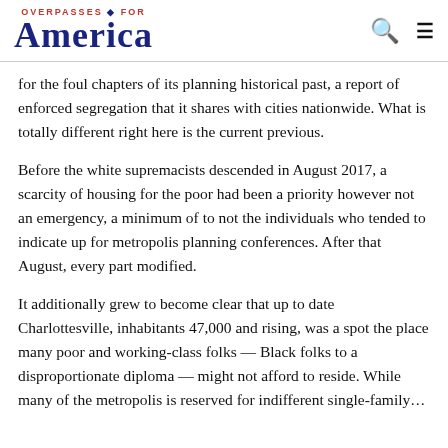OVERPASSES FOR America
for the foul chapters of its planning historical past, a report of enforced segregation that it shares with cities nationwide. What is totally different right here is the current previous.
Before the white supremacists descended in August 2017, a scarcity of housing for the poor had been a priority however not an emergency, a minimum of to not the individuals who tended to indicate up for metropolis planning conferences. After that August, every part modified.
It additionally grew to become clear that up to date Charlottesville, inhabitants 47,000 and rising, was a spot the place many poor and working-class folks — Black folks to a disproportionate diploma — might not afford to reside. While many of the metropolis is reserved for indifferent single-family…